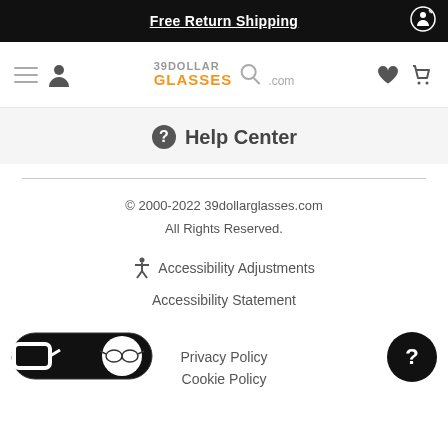Free Return Shipping
[Figure (logo): 39DollarGlasses.com logo with search icon, hamburger menu, user icon, heart icon, and shopping cart icon]
Help Center
© 2000-2022 39dollarglasses.com All Rights Reserved.
Accessibility Adjustments
Accessibility Statement
Privacy Policy
Cookie Policy